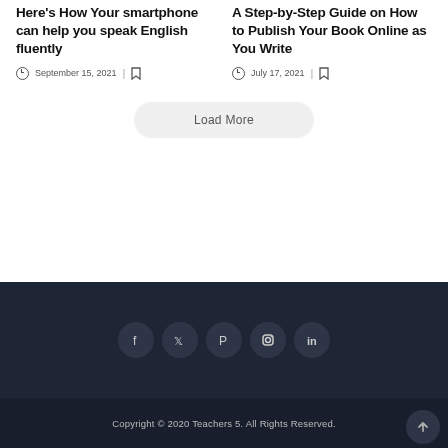Here’s How Your smartphone can help you speak English fluently
September 15, 2021
A Step-by-Step Guide on How to Publish Your Book Online as You Write
July 17, 2021
Load More
[Figure (infographic): Social media icons row: Facebook, Twitter, Pinterest, Instagram, LinkedIn on dark background]
Copyright © 2020 Teachers 5. All Rights Reserved.